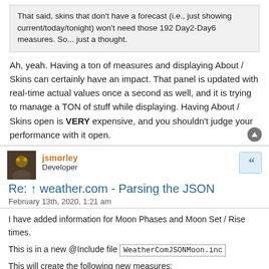That said, skins that don't have a forecast (i.e., just showing current/today/tonight) won't need those 192 Day2-Day6 measures. So... just a thought.
Ah, yeah. Having a ton of measures and displaying About / Skins can certainly have an impact. That panel is updated with real-time actual values once a second as well, and it is trying to manage a TON of stuff while displaying. Having About / Skins open is VERY expensive, and you shouldn't judge your performance with it open.
jsmorley
Developer
Re: ↑ weather.com - Parsing the JSON
February 13th, 2020, 1:21 am
I have added information for Moon Phases and Moon Set / Rise times.
This is in a new @Include file WeatherComJSONMoon.inc
This will create the following new measures:
[@MoonDay1DayLong] : i.e. Wednesday